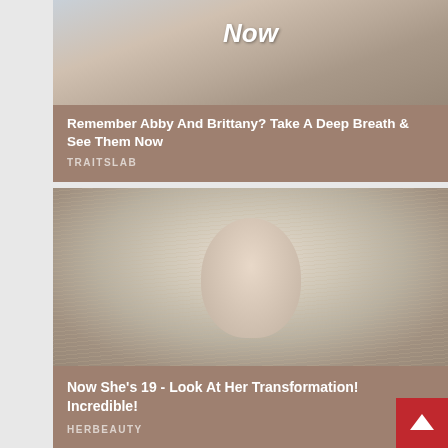[Figure (photo): Photo of people in background with 'Now' text overlay in white bold italic]
Remember Abby And Brittany? Take A Deep Breath & See Them Now
TRAITSLAB
[Figure (photo): Close-up photo of a young blonde girl with bangs and blue eyes, outdoor background with water]
Now She's 19 - Look At Her Transformation! Incredible!
HERBEAUTY